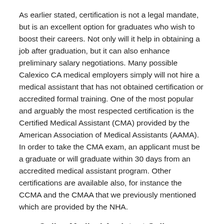As earlier stated, certification is not a legal mandate, but is an excellent option for graduates who wish to boost their careers. Not only will it help in obtaining a job after graduation, but it can also enhance preliminary salary negotiations. Many possible Calexico CA medical employers simply will not hire a medical assistant that has not obtained certification or accredited formal training. One of the most popular and arguably the most respected certification is the Certified Medical Assistant (CMA) provided by the American Association of Medical Assistants (AAMA). In order to take the CMA exam, an applicant must be a graduate or will graduate within 30 days from an accredited medical assistant program. Other certifications are available also, for instance the CCMA and the CMAA that we previously mentioned which are provided by the NHA.
Online Medical Assistant Colleges
There are many